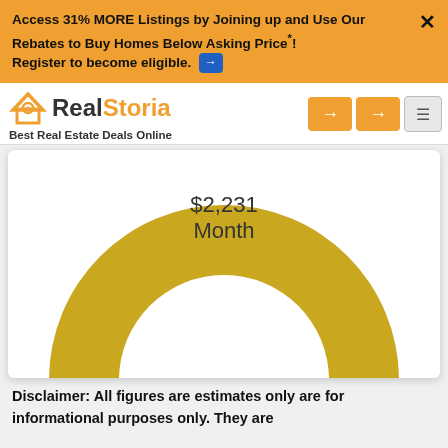Access 31% MORE Listings by Joining up and Use Our Rebates to Buy Homes Below Asking Price*! Register to become eligible.
[Figure (logo): RealStoria logo with house icon and tagline 'Best Real Estate Deals Online']
[Figure (donut-chart): Large gold/yellow donut chart showing $2,231 Month in the center]
Disclaimer: All figures are estimates only are for informational purposes only. They are